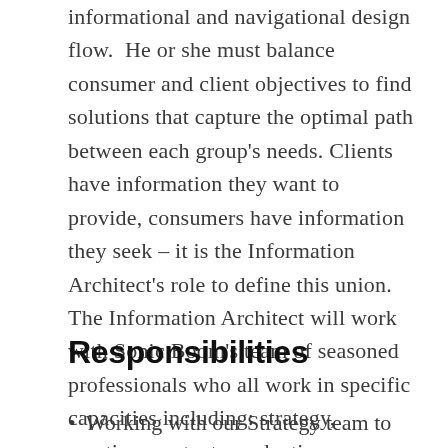informational and navigational design flow.  He or she must balance consumer and client objectives to find solutions that capture the optimal path between each group's needs. Clients have information they want to provide, consumers have information they seek – it is the Information Architect's role to define this union. The Information Architect will work with Sonic Boom's team of seasoned professionals who all work in specific capacities including: strategy, creative, content, production, technology and quality assurance.
Responsibilities
Working with our Strategy team to identity,